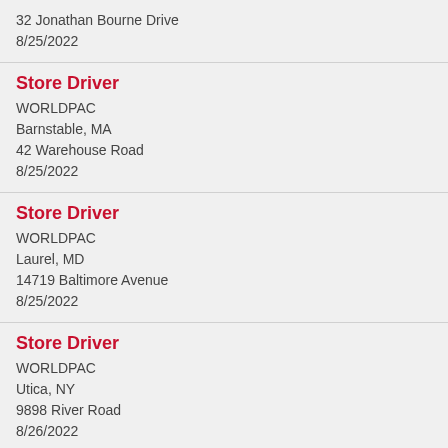32 Jonathan Bourne Drive
8/25/2022
Store Driver
WORLDPAC
Barnstable, MA
42 Warehouse Road
8/25/2022
Store Driver
WORLDPAC
Laurel, MD
14719 Baltimore Avenue
8/25/2022
Store Driver
WORLDPAC
Utica, NY
9898 River Road
8/26/2022
Store Driver
WORLDPAC
Winston-Salem, NC
1338 ...